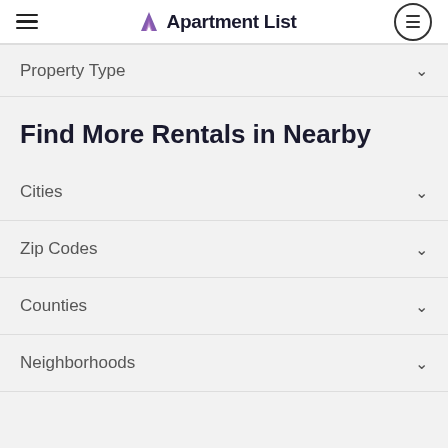Apartment List
Property Type
Find More Rentals in Nearby
Cities
Zip Codes
Counties
Neighborhoods